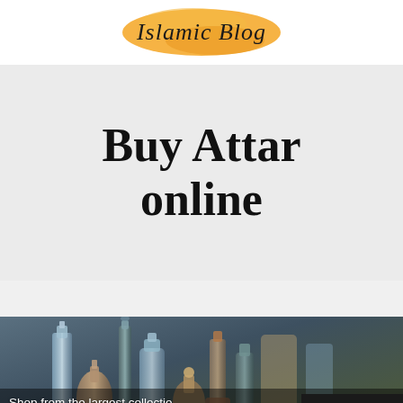Islamic Blog
Buy Attar online
[Figure (photo): Photo of perfume/attar bottles arranged together, dark moody background with various decorative glass bottles]
Shop from the largest collectio alcohol-free Attars for men & women